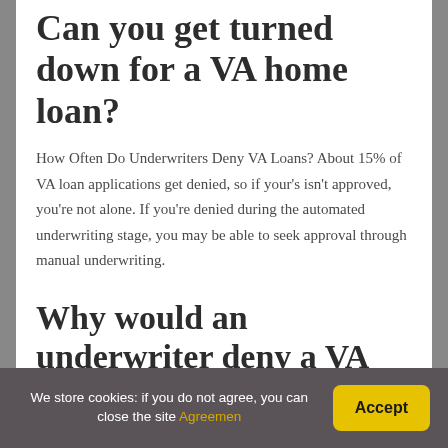Can you get turned down for a VA home loan?
How Often Do Underwriters Deny VA Loans? About 15% of VA loan applications get denied, so if your's isn't approved, you're not alone. If you're denied during the automated underwriting stage, you may be able to seek approval through manual underwriting.
Why would an underwriter deny a VA loan?
We store cookies: if you do not agree, you can close the site Agreemen  Accept